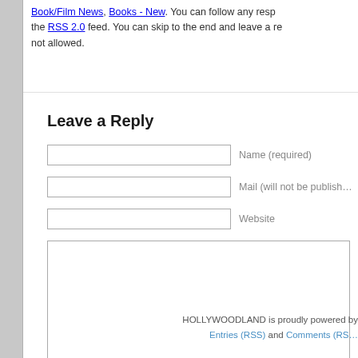Book/Film News, Books - New. You can follow any responses to the RSS 2.0 feed. You can skip to the end and leave a response. Pinging is not allowed.
Leave a Reply
Name (required)
Mail (will not be published)
Website
HOLLYWOODLAND is proudly powered by Entries (RSS) and Comments (RSS)